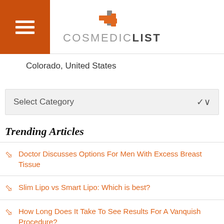COSMEDICLIST
Colorado, United States
Select Category
Trending Articles
Doctor Discusses Options For Men With Excess Breast Tissue
Slim Lipo vs Smart Lipo: Which is best?
How Long Does It Take To See Results For A Vanquish Procedure?